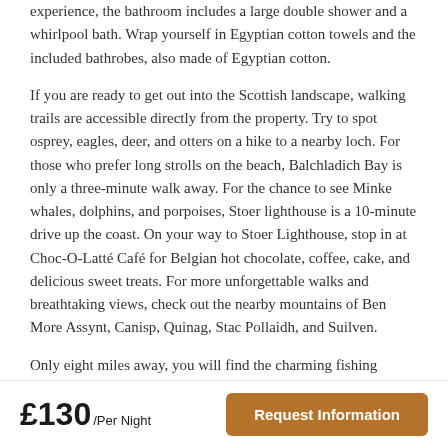experience, the bathroom includes a large double shower and a whirlpool bath. Wrap yourself in Egyptian cotton towels and the included bathrobes, also made of Egyptian cotton.
If you are ready to get out into the Scottish landscape, walking trails are accessible directly from the property. Try to spot osprey, eagles, deer, and otters on a hike to a nearby loch. For those who prefer long strolls on the beach, Balchladich Bay is only a three-minute walk away. For the chance to see Minke whales, dolphins, and porpoises, Stoer lighthouse is a 10-minute drive up the coast. On your way to Stoer Lighthouse, stop in at Choc-O-Latté Café for Belgian hot chocolate, coffee, cake, and delicious sweet treats. For more unforgettable walks and breathtaking views, check out the nearby mountains of Ben More Assynt, Canisp, Quinag, Stac Pollaidh, and Suilven.
Only eight miles away, you will find the charming fishing village of Lochinver with all the shops it offers. To explore the coast from
£130/Per Night
Request Information